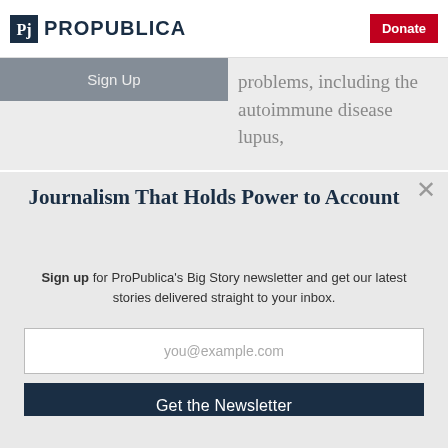ProPublica | Donate
Journalism That Holds Power to Account
Sign up for ProPublica's Big Story newsletter and get our latest stories delivered straight to your inbox.
you@example.com
Get the Newsletter
No thanks, I'm all set
This site is protected by reCAPTCHA and the Google Privacy Policy and Terms of Service apply.